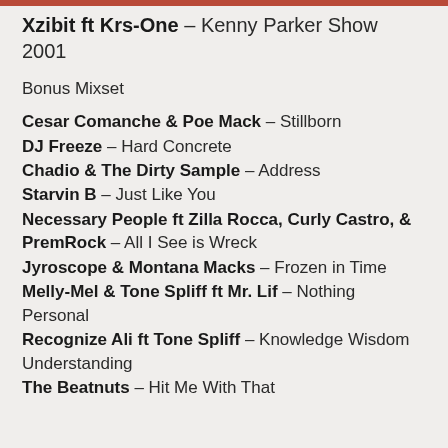Xzibit ft Krs-One – Kenny Parker Show 2001
Bonus Mixset
Cesar Comanche & Poe Mack – Stillborn
DJ Freeze – Hard Concrete
Chadio & The Dirty Sample – Address
Starvin B – Just Like You
Necessary People ft Zilla Rocca, Curly Castro, & PremRock – All I See is Wreck
Jyroscope & Montana Macks – Frozen in Time
Melly-Mel & Tone Spliff ft Mr. Lif – Nothing Personal
Recognize Ali ft Tone Spliff – Knowledge Wisdom Understanding
The Beatnuts – Hit Me With That